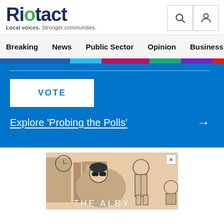Riotact — Local voices. Stronger communities.
Breaking  News  Public Sector  Opinion  Business  R
[Figure (infographic): Blue promotional banner with a 'VOTE' button and a link reading 'Explore Probing the Polls' with right arrow, on a blue background. Above is a multicolor bar (blue, cyan, magenta, teal, purple, red).]
[Figure (illustration): Advertisement illustration showing cartoon-style figures (people wearing sunglasses, sitting or standing) with text 'THE ALBY' at the bottom, drawn in a comic/retro style on a beige/tan background.]